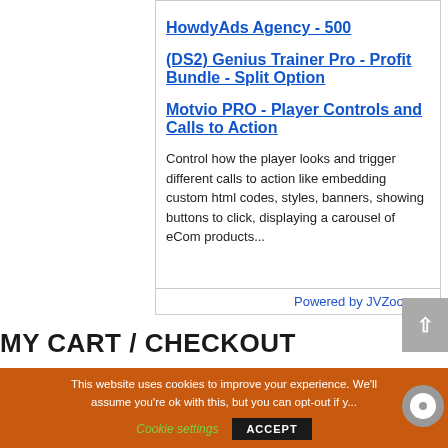Revenue To The Next Level!)
HowdyAds Agency - 500
(DS2) Genius Trainer Pro - Profit Bundle - Split Option
Motvio PRO - Player Controls and Calls to Action
Control how the player looks and trigger different calls to action like embedding custom html codes, styles, banners, showing buttons to click, displaying a carousel of eCom products...
Powered by JVZoo.com
MY CART / CHECKOUT
This website uses cookies to improve your experience. We'll assume you're ok with this, but you can opt-out if y...
Cookie settings
ACCEPT